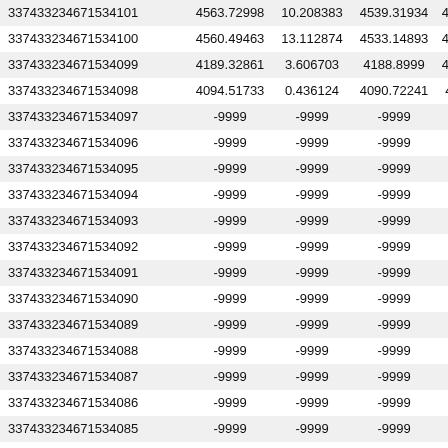| 33743323467153410​1 | 4563.72998 | 10.208383 | 4539.31934 | 4567.72339 |
| 33743323467153410​0 | 4560.49463 | 13.112874 | 4533.14893 | 4587.75293 |
| 33743323467153409​9 | 4189.32861 | 3.606703 | 4188.8999 | 4197.58984 |
| 33743323467153409​8 | 4094.51733 | 0.436124 | 4090.72241 | 4099.2085 |
| 33743323467153409​7 | -9999 | -9999 | -9999 | -9999 |
| 33743323467153409​6 | -9999 | -9999 | -9999 | -9999 |
| 33743323467153409​5 | -9999 | -9999 | -9999 | -9999 |
| 33743323467153409​4 | -9999 | -9999 | -9999 | -9999 |
| 33743323467153409​3 | -9999 | -9999 | -9999 | -9999 |
| 33743323467153409​2 | -9999 | -9999 | -9999 | -9999 |
| 33743323467153409​1 | -9999 | -9999 | -9999 | -9999 |
| 33743323467153409​0 | -9999 | -9999 | -9999 | -9999 |
| 33743323467153408​9 | -9999 | -9999 | -9999 | -9999 |
| 33743323467153408​8 | -9999 | -9999 | -9999 | -9999 |
| 33743323467153408​7 | -9999 | -9999 | -9999 | -9999 |
| 33743323467153408​6 | -9999 | -9999 | -9999 | -9999 |
| 33743323467153408​5 | -9999 | -9999 | -9999 | -9999 |
| 33743323467153408​4 | -9999 | -9999 | -9999 | -9999 |
| 33743323467153408​3 | -9999 | -9999 | -9999 | -9999 |
| 33743323467153408​2 | -9999 | -9999 | -9999 | -9999 |
| 33743323467153408​1 | -9999 | -9999 | -9999 | -9999 |